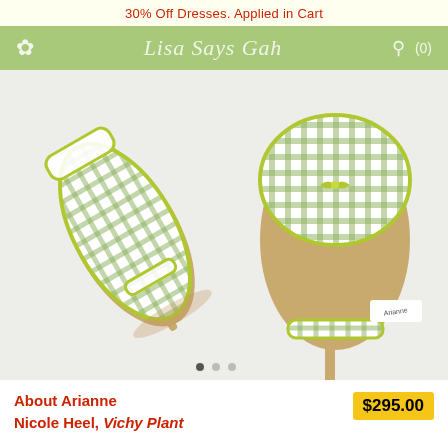30% Off Dresses. Applied in Cart
[Figure (screenshot): Navigation bar with flower logo icon, 'Lisa Says Gah' italic script logo in center, search icon and cart (0) on right, on sage green background]
[Figure (photo): Two green and white gingham check kitten heel mules (About Arianne Nicole Heel in Vichy Plant colorway) viewed from above on light grey background. Shoes have chartreuse/lime green piping trim and small bow detail on toe strap.]
About Arianne
Nicole Heel, Vichy Plant
$295.00